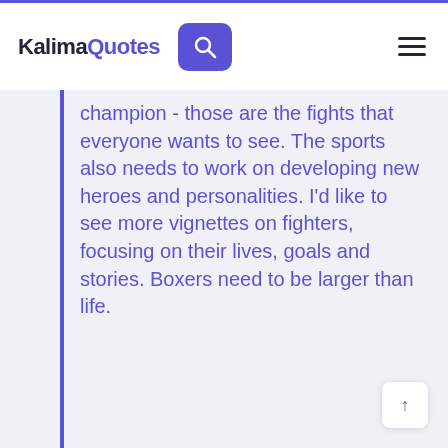KalimaQuotes
champion - those are the fights that everyone wants to see. The sports also needs to work on developing new heroes and personalities. I'd like to see more vignettes on fighters, focusing on their lives, goals and stories. Boxers need to be larger than life.